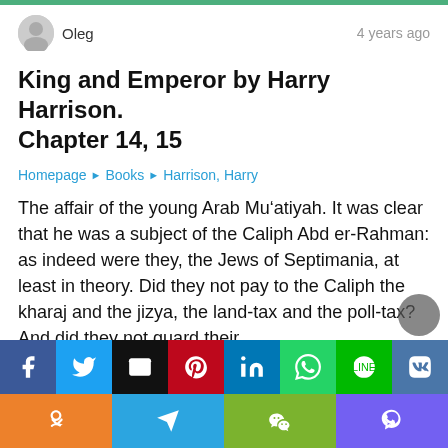Oleg  |  4 years ago
King and Emperor by Harry Harrison. Chapter 14, 15
Homepage ▶ Books ▶ Harrison, Harry
The affair of the young Arab Mu'atiyah. It was clear that he was a subject of the Caliph Abd er-Rahman: as indeed were they, the Jews of Septimania, at least in theory. Did they not pay to the Caliph the kharaj and the jizya, the land-tax and the poll-tax? And did they not guard their